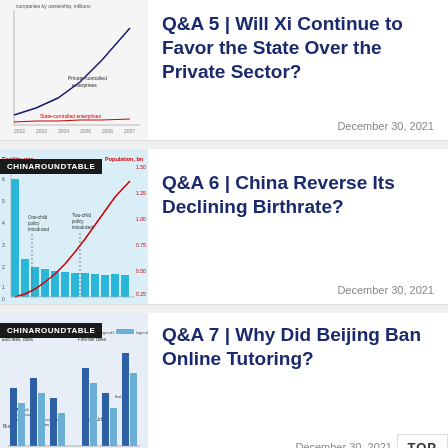[Figure (line-chart): Line chart showing private-controlled enterprises vs state-controlled enterprises by ownership, millions, from 2002 to 2007]
Q&A 5 | Will Xi Continue to Favor the State Over the Private Sector?
December 30, 2021
[Figure (bar-chart): Bar chart with line overlay showing fertility rate and population in billions, with annotations for one-child policy introduced and two-child policy introduced]
Q&A 6 | China Reverse Its Declining Birthrate?
December 30, 2021
[Figure (grouped-bar-chart): Grouped bar chart comparing education data across rural, urban, county-level cities, first-tier cities categories with legend]
Q&A 7 | Why Did Beijing Ban Online Tutoring?
December 30, 2021